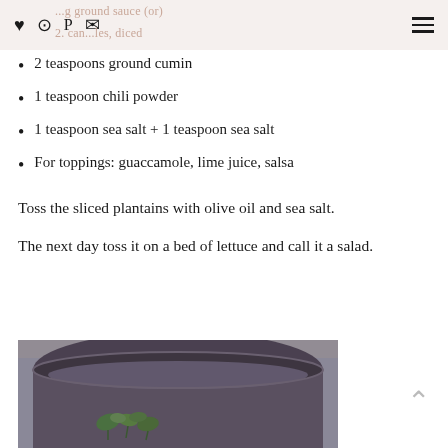♥ ⊙ P ✉  [faded: ...g ground sauce (or) / 2. can...les, diced]  ≡
2 teaspoons ground cumin
1 teaspoon chili powder
1 teaspoon sea salt + 1 teaspoon sea salt
For toppings: guaccamole, lime juice, salsa
Toss the sliced plantains with olive oil and sea salt.
The next day toss it on a bed of lettuce and call it a salad.
[Figure (photo): Photo of a bowl with salad greens, viewed from above, dark ceramic bowl on wooden surface]